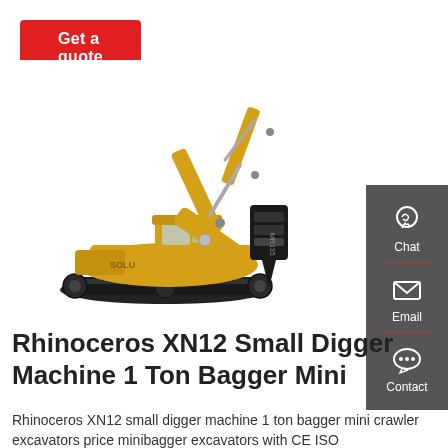Get a quote
[Figure (photo): Yellow Rhinoceros XN12 excavator with hydraulic breaker attachment, side view on white background]
[Figure (infographic): Dark gray sidebar with Chat (headset icon), Email (envelope icon), and Contact (speech bubble icon) buttons]
Rhinoceros XN12 Small Digger Machine 1 Ton Bagger Mini
Rhinoceros XN12 small digger machine 1 ton bagger mini crawler excavators price minibagger excavators with CE ISO